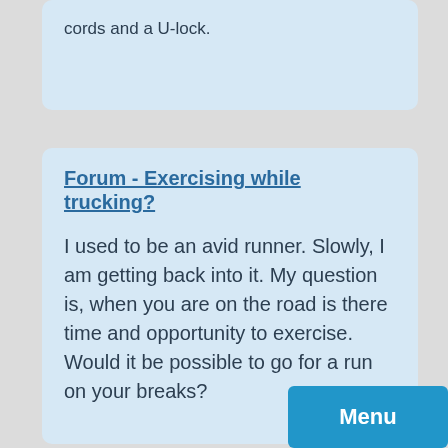cords and a U-lock.
Forum - Exercising while trucking?
I used to be an avid runner. Slowly, I am getting back into it. My question is, when you are on the road is there time and opportunity to exercise. Would it be possible to go for a run on your breaks?
Forum - How To Get Exercise On The Road?